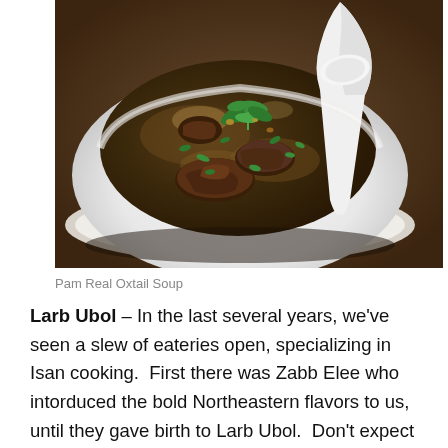[Figure (photo): A white bowl of oxtail soup with dark broth, chunks of meat, green herbs including cilantro, and a white spoon resting in the bowl, photographed from above at an angle on a wooden table.]
Pam Real Oxtail Soup
Larb Ubol – In the last several years, we've seen a slew of eateries open, specializing in Isan cooking.  First there was Zabb Elee who intorduced the bold Northeastern flavors to us, until they gave birth to Larb Ubol.  Don't expect anything more than a bookstore café type décor (notice a trend here?).  I bike here sweating the heavy